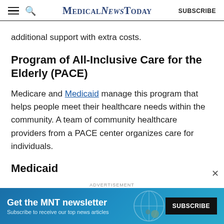MedicalNewsToday SUBSCRIBE
additional support with extra costs.
Program of All-Inclusive Care for the Elderly (PACE)
Medicare and Medicaid manage this program that helps people meet their healthcare needs within the community. A team of community healthcare providers from a PACE center organizes care for individuals.
Medicaid
People who qualify for Medicaid may have access to
[Figure (screenshot): Advertisement banner: Get the MNT newsletter. Subscribe to receive our top news articles. SUBSCRIBE button.]